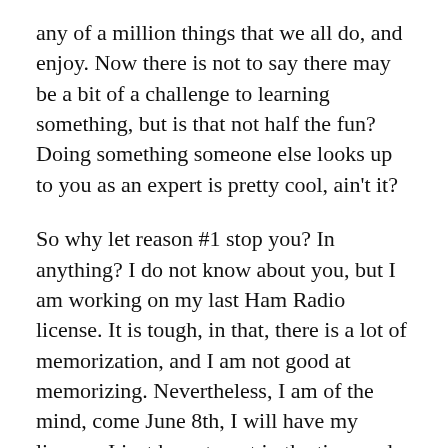any of a million things that we all do, and enjoy. Now there is not to say there may be a bit of a challenge to learning something, but is that not half the fun? Doing something someone else looks up to you as an expert is pretty cool, ain't it?
So why let reason #1 stop you? In anything? I do not know about you, but I am working on my last Ham Radio license. It is tough, in that, there is a lot of memorization, and I am not good at memorizing. Nevertheless, I am of the mind, come June 8th, I will have my license. I just have to put in the time and effort to study and pass. Hard? Well, if you consider making commitment to achieve a goal hard, then yes,